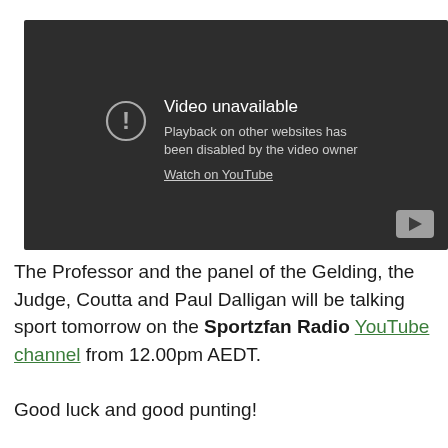[Figure (screenshot): YouTube embedded video player showing error: 'Video unavailable. Playback on other websites has been disabled by the video owner. Watch on YouTube.' Dark grey background with alert icon and YouTube play button in bottom right.]
The Professor and the panel of the Gelding, the Judge, Coutta and Paul Dalligan will be talking sport tomorrow on the Sportzfan Radio YouTube channel from 12.00pm AEDT.
Good luck and good punting!